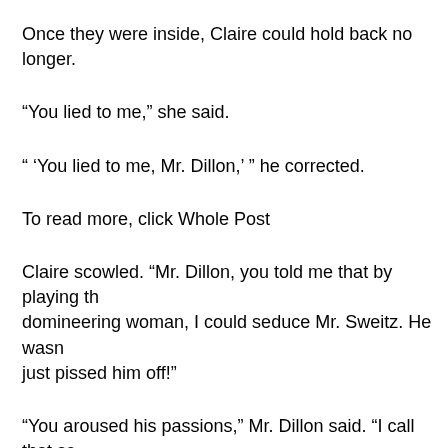Once they were inside, Claire could hold back no longer.
“You lied to me,” she said.
“ ‘You lied to me, Mr. Dillon,’ ” he corrected.
To read more, click Whole Post
Claire scowled. “Mr. Dillon, you told me that by playing th… domineering woman, I could seduce Mr. Sweitz. He wasn… just pissed him off!”
“You aroused his passions,” Mr. Dillon said. “I call that se…
“If you wanted him to spank me, why not have me adopt… that sort of thing? Why did I have to go and make him an…